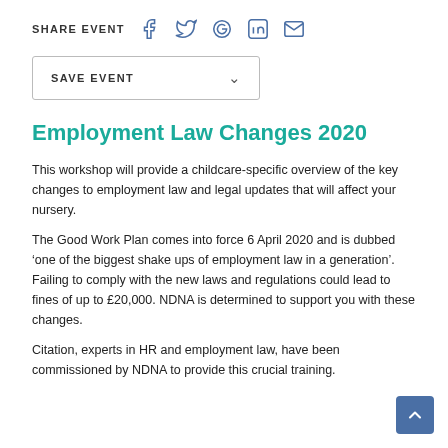SHARE EVENT
SAVE EVENT
Employment Law Changes 2020
This workshop will provide a childcare-specific overview of the key changes to employment law and legal updates that will affect your nursery.
The Good Work Plan comes into force 6 April 2020 and is dubbed ‘one of the biggest shake ups of employment law in a generation’. Failing to comply with the new laws and regulations could lead to fines of up to £20,000. NDNA is determined to support you with these changes.
Citation, experts in HR and employment law, have been commissioned by NDNA to provide this crucial training.